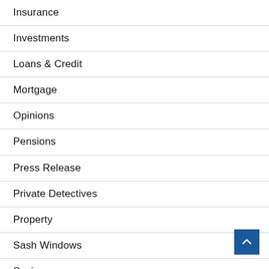Insurance
Investments
Loans & Credit
Mortgage
Opinions
Pensions
Press Release
Private Detectives
Property
Sash Windows
Savings
Skip Hire
Slider
Tax